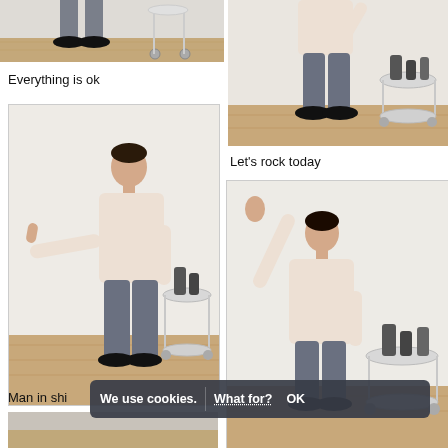[Figure (photo): Cropped photo showing lower legs and feet of a person standing on wooden floor, with a white side table on wheels visible]
Everything is ok
[Figure (photo): Man in a light shirt giving thumbs up, standing next to a side table with dark sculptures, wooden floor]
Man in shi
[Figure (photo): Cropped photo of person standing, lower body visible, side table with sculptures, white background]
Let's rock today
[Figure (photo): Man in light shirt with hand raised in stop/wave gesture, standing next to a side table with sculptures, white background]
We use cookies. What for? OK